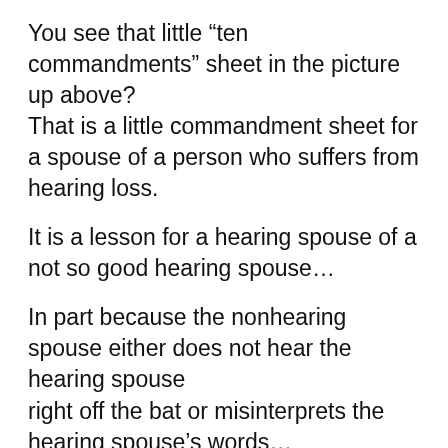You see that little “ten commandments” sheet in the picture up above?
That is a little commandment sheet for a spouse of a person who suffers from hearing loss.
It is a lesson for a hearing spouse of a not so good hearing spouse…
In part because the nonhearing spouse either does not hear the hearing spouse
right off the bat or misinterprets the hearing spouse’s words…
“Who died???” my husband implores as I ask if wants me to make iced tea for supper.
“I don’t want any ice cream” my husband snaps when I ask if he needs a towel when he’s heading